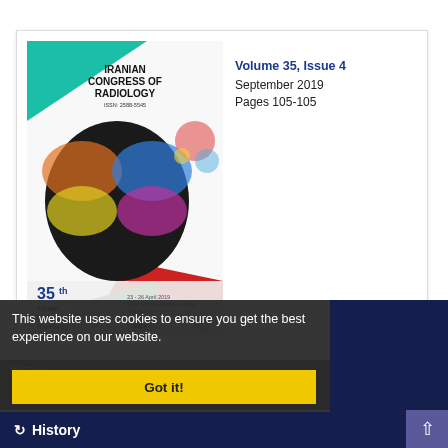[Figure (illustration): Cover image of Iranian Congress of Radiology journal, Volume 35, showing a colorful butterfly graphic over a dark background, with '35th Iranian Congress of Radiology 2019' text and ISSN: 2588-5545]
Volume 35, Issue 4
September 2019
Pages 105-105
This website uses cookies to ensure you get the best experience on our website.
[2] Files
XML
Got it!
History